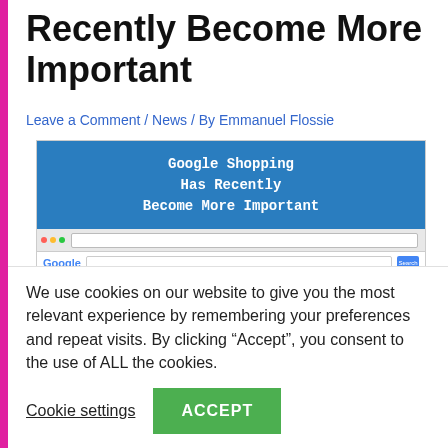Recently Become More Important
Leave a Comment / News / By Emmanuel Flossie
[Figure (screenshot): Screenshot composite: blue header reading 'Google Shopping Has Recently Become More Important' in monospace white text, overlaid on a browser screenshot of a Google search results page showing Fruit of the Loom T-shirts in organic results and shopping results panel with product images.]
We use cookies on our website to give you the most relevant experience by remembering your preferences and repeat visits. By clicking “Accept”, you consent to the use of ALL the cookies.
Cookie settings
ACCEPT